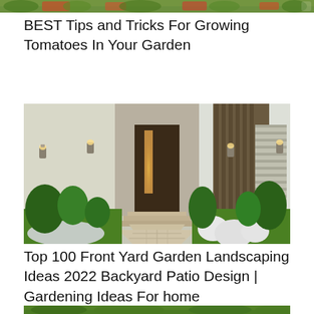[Figure (photo): Partial top strip of a garden/tomatoes image, cropped at top of page]
BEST Tips and Tricks For Growing Tomatoes In Your Garden
[Figure (photo): Modern front yard garden landscaping with stone pathway leading to front door, white spherical decorative boulders on green lawn, tropical plants and shrubs, wall-mounted lighting fixtures on house exterior]
Top 100 Front Yard Garden Landscaping Ideas 2022 Backyard Patio Design | Gardening Ideas For home
[Figure (photo): Partial bottom strip of another garden/landscaping image, cropped at bottom of page]